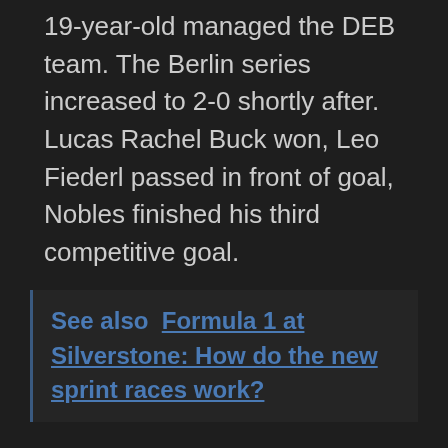19-year-old managed the DEB team. The Berlin series increased to 2-0 shortly after. Lucas Rachel Buck won, Leo Fiederl passed in front of goal, Nobles finished his third competitive goal.
See also  Formula 1 at Silverstone: How do the new sprint races work?
Then it got exciting again: Soderhome's players threw themselves into the Latvian shots in four minutes and escaped unharmed at the crucial point. A counter-attack after a mistake in the middle third helped catch the hosts – but it remained so.